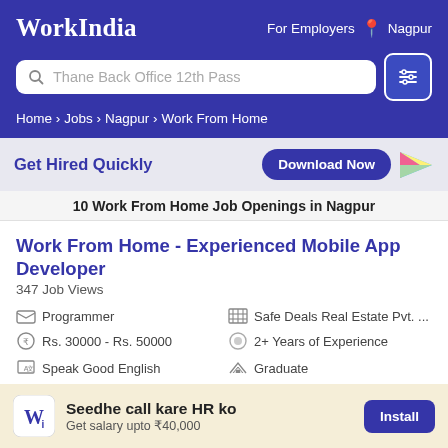WorkIndia — For Employers — Nagpur
Thane Back Office 12th Pass
Home › Jobs › Nagpur › Work From Home
Get Hired Quickly — Download Now
10 Work From Home Job Openings in Nagpur
Work From Home - Experienced Mobile App Developer
347 Job Views
Programmer
Safe Deals Real Estate Pvt. ...
Rs. 30000 - Rs. 50000
2+ Years of Experience
Speak Good English
Graduate
Hinana Road, Nagpur
Seedhe call kare HR ko — Get salary upto ₹40,000 — Install